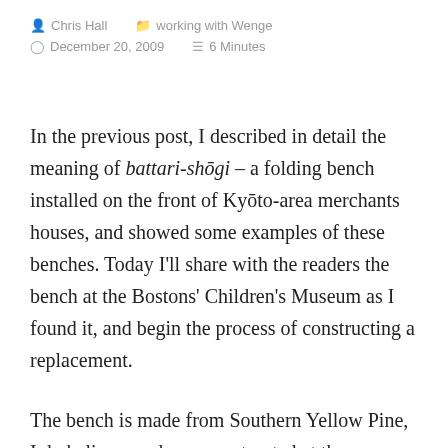Chris Hall   working with Wenge   December 20, 2009   6 Minutes
In the previous post, I described in detail the meaning of battari-shōgi – a folding bench installed on the front of Kyōto-area merchants houses, and showed some examples of these benches. Today I'll share with the readers the bench at the Bostons' Children's Museum as I found it, and begin the process of constructing a replacement.
The bench is made from Southern Yellow Pine, I do believe, and was constructed at the same time as the machi-ya installation into the museum. Thirty years of wear has left the frame of the bench quite eroded, and